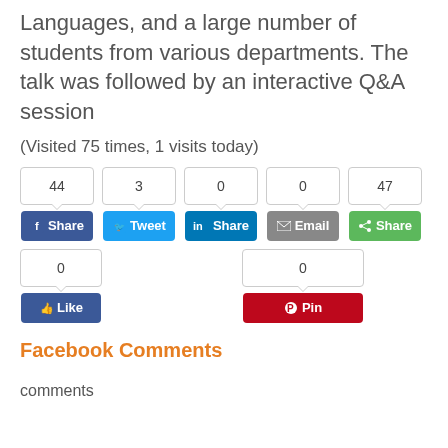Languages, and a large number of students from various departments. The talk was followed by an interactive Q&A session
(Visited 75 times, 1 visits today)
[Figure (screenshot): Social share buttons row: Facebook Share (44), Twitter Tweet (3), LinkedIn Share (0), Email (0), Share (47); below: Facebook Like (0) and Pinterest Pin (0)]
Facebook Comments
comments